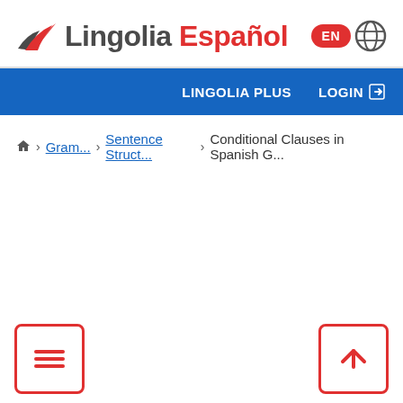[Figure (logo): Lingolia Español logo with bird/arrow icon and language badge showing EN and globe icon]
LINGOLIA PLUS   LOGIN →
🏠 › Gram... › Sentence Struct... › Conditional Clauses in Spanish G...
[Figure (infographic): Bottom-left hamburger menu button (three horizontal lines, red border square) and bottom-right up-arrow button (red border square)]